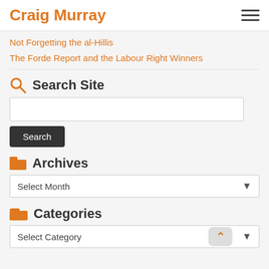Craig Murray
Not Forgetting the al-Hillis
The Forde Report and the Labour Right Winners
Search Site
Archives
Categories